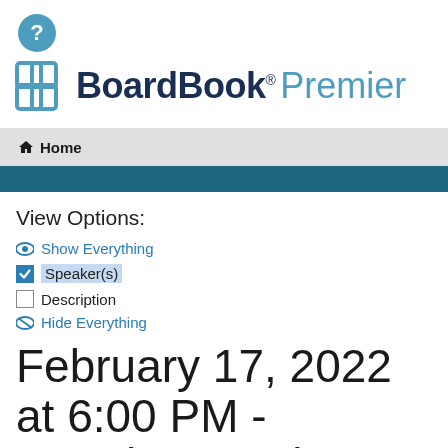[Figure (logo): BoardBook Premier logo with icon and text]
Home
View Options:
Show Everything
Speaker(s) [checked]
Description [unchecked]
Hide Everything
February 17, 2022 at 6:00 PM - Regular Meeting